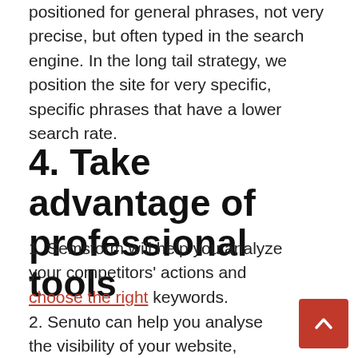positioned for general phrases, not very precise, but often typed in the search engine. In the long tail strategy, we position the site for very specific, specific phrases that have a lower search rate.
4. Take advantage of professional tools
1. Semstorm will help you analyze your competitors' actions and choose the right keywords.
2. Senuto can help you analyse the visibility of your website, monitor its position in Google.